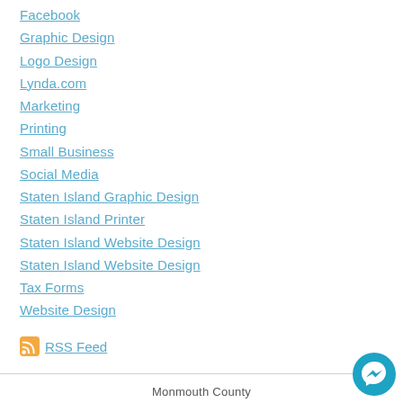Facebook
Graphic Design
Logo Design
Lynda.com
Marketing
Printing
Small Business
Social Media
Staten Island Graphic Design
Staten Island Printer
Staten Island Website Design
Staten Island Website Design
Tax Forms
Website Design
RSS Feed
Monmouth County